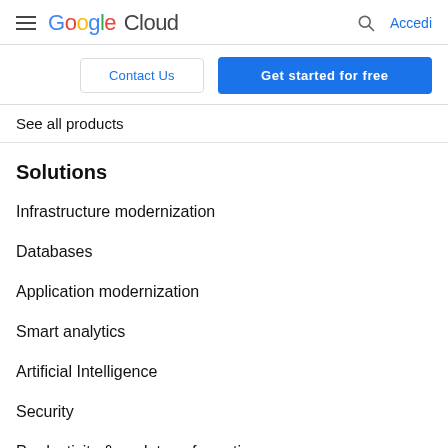[Figure (logo): Google Cloud logo with hamburger menu icon on the left, search icon and Accedi link on the right]
[Figure (screenshot): Two navigation buttons: 'Contact Us' outlined button and 'Get started for free' blue filled button]
See all products
Solutions
Infrastructure modernization
Databases
Application modernization
Smart analytics
Artificial Intelligence
Security
Productivity & work transformation
Industry solutions